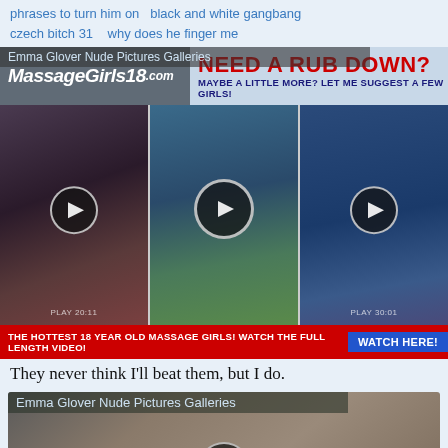phrases to turn him on   black and white gangbang
czech bitch 31   why does he finger me
[Figure (screenshot): MassageGirls18.com advertisement banner with logo on left and 'NEED A RUB DOWN? MAYBE A LITTLE MORE? LET ME SUGGEST A FEW GIRLS!' text on right]
[Figure (screenshot): Three video thumbnail panels side by side with play buttons, labeled 'Emma Glover Nude Pictures Galleries' at top]
THE HOTTEST 18 YEAR OLD MASSAGE GIRLS! WATCH THE FULL LENGTH VIDEO! WATCH HERE!
They never think I'll beat them, but I do.
[Figure (screenshot): Emma Glover Nude Pictures Galleries - video thumbnail of brunette woman on couch with play button overlay]